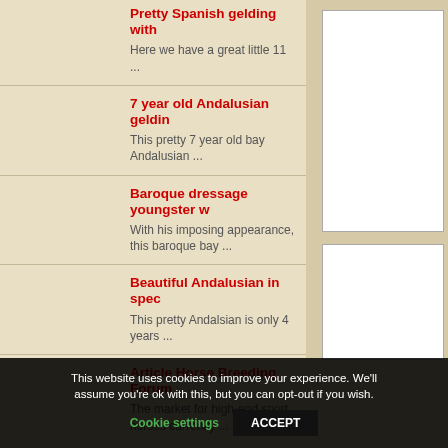Pretty Spanish gelding with
Here we have a great little 11 ...
7 year old Andalusian geldin
This pretty 7 year old bay Andalusian ...
Baroque dressage youngster w
With his imposing appearance, this baroque bay ...
Beautiful Andalusian in spec
This pretty Andalsian is only 4 years ...
Article Horse Breeding Forum
The market for high-end sport horses currently ...
This website uses cookies to improve your experience. We'll assume you're ok with this, but you can opt-out if you wish.
Cookie settings   ACCEPT